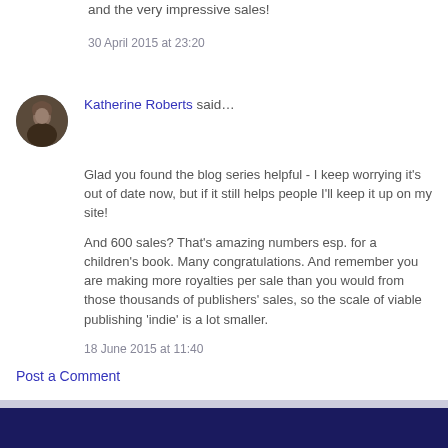…Great stuff, and congratulations on the book and the very impressive sales!
30 April 2015 at 23:20
Katherine Roberts said…
Glad you found the blog series helpful - I keep worrying it's out of date now, but if it still helps people I'll keep it up on my site!

And 600 sales? That's amazing numbers esp. for a children's book. Many congratulations. And remember you are making more royalties per sale than you would from those thousands of publishers' sales, so the scale of viable publishing 'indie' is a lot smaller.
18 June 2015 at 11:40
Post a Comment